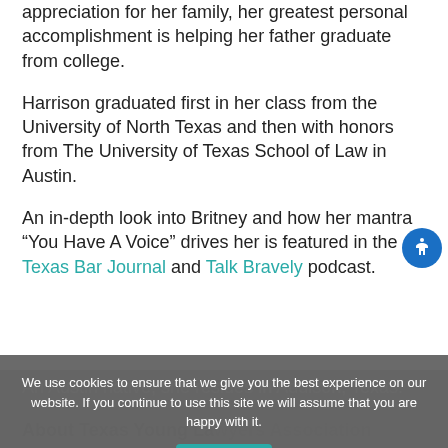appreciation for her family, her greatest personal accomplishment is helping her father graduate from college.
Harrison graduated first in her class from the University of North Texas and then with honors from The University of Texas School of Law in Austin.
An in-depth look into Britney and how her mantra “You Have A Voice” drives her is featured in the Texas Bar Journal and Talk Bravely podcast.
An Austin native, she resides in Addison, Texas.
About Texas Young Lawyers Association
We use cookies to ensure that we give you the best experience on our website. If you continue to use this site we will assume that you are happy with it.